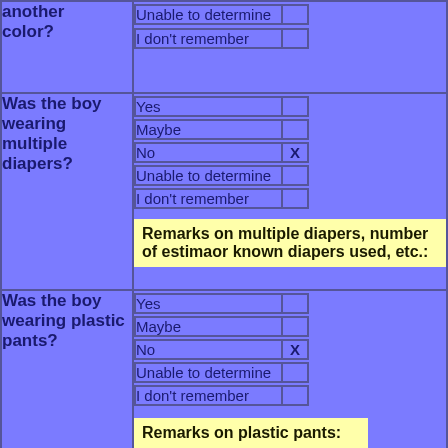| another color? | Unable to determine / I don't remember |
| Was the boy wearing multiple diapers? | Yes / Maybe / No [X] / Unable to determine / I don't remember | Remarks on multiple diapers, number of estimated or known diapers used, etc.: |
| Was the boy wearing plastic pants? | Yes / Maybe / No [X] / Unable to determine / I don't remember | Remarks on plastic pants: |
| List other details about the di... |  |